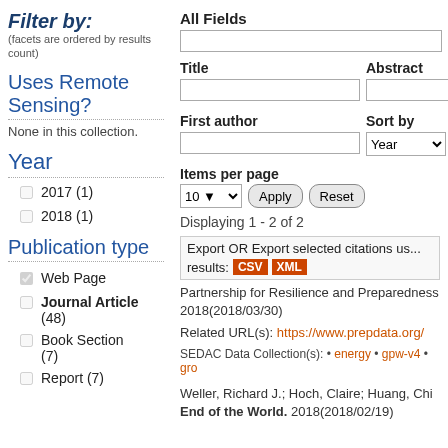Filter by:
(facets are ordered by results count)
Uses Remote Sensing?
None in this collection.
Year
2017 (1)
2018 (1)
Publication type
Web Page
Journal Article (48)
Book Section (7)
Report (7)
All Fields
Title
Abstract
First author
Sort by
Items per page
Displaying 1 - 2 of 2
Export   OR Export selected citations us... results: CSV XML
Partnership for Resilience and Preparedness 2018(2018/03/30)
Related URL(s): https://www.prepdata.org/
SEDAC Data Collection(s): • energy • gpw-v4 • gro
Weller, Richard J.; Hoch, Claire; Huang, Chi End of the World. 2018(2018/02/19)